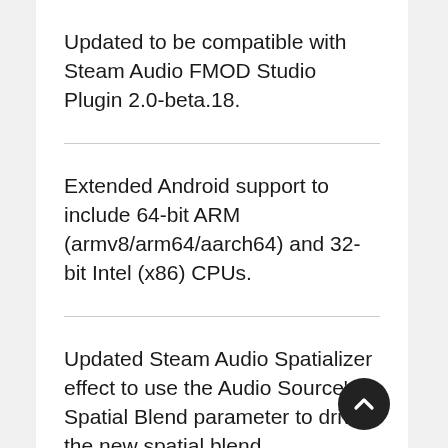Updated to be compatible with Steam Audio FMOD Studio Plugin 2.0-beta.18.
Extended Android support to include 64-bit ARM (armv8/arm64/aarch64) and 32-bit Intel (x86) CPUs.
Updated Steam Audio Spatializer effect to use the Audio Source's Spatial Blend parameter to drive the new spatial blend